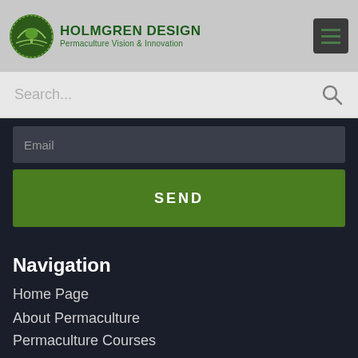HOLMGREN DESIGN - Permaculture Vision & Innovation
Search...
Email
SEND
Navigation
Home Page
About Permaculture
Permaculture Courses
Permaculture Events